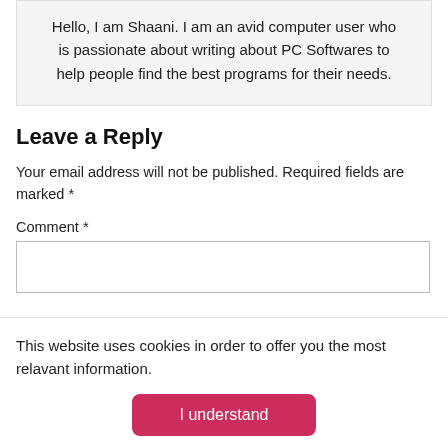Hello, I am Shaani. I am an avid computer user who is passionate about writing about PC Softwares to help people find the best programs for their needs.
Leave a Reply
Your email address will not be published. Required fields are marked *
Comment *
This website uses cookies in order to offer you the most relavant information.
I understand